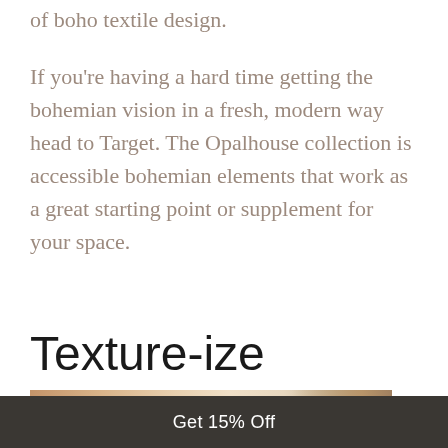of boho textile design.
If you're having a hard time getting the bohemian vision in a fresh, modern way head to Target. The Opalhouse collection is accessible bohemian elements that work as a great starting point or supplement for your space.
Texture-ize
[Figure (photo): Photo of a cream/beige sofa with textured throw pillows and a glass side table in a boho-styled living room setting.]
Get 15% Off